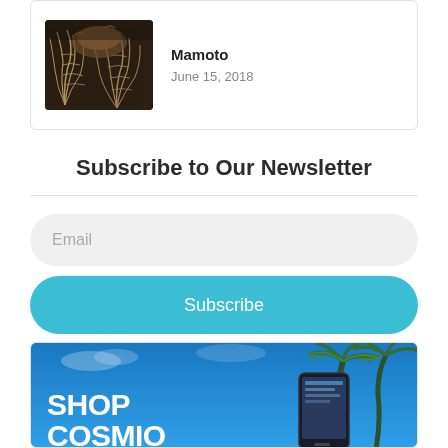[Figure (photo): Card with a coral/sea fan underwater photo on the left, with bold title 'Mamoto' and date 'June 15, 2018' on the right]
Mamoto
June 15, 2018
Subscribe to Our Newsletter
Email
Subscribe
[Figure (photo): Advertisement banner with blue sky background, palm trees, smartphone, and bold white text 'SHOP COSMIO']